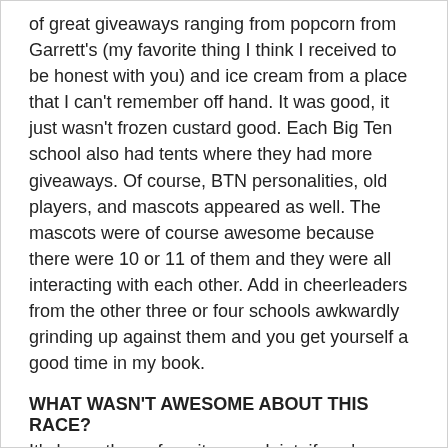of great giveaways ranging from popcorn from Garrett's (my favorite thing I think I received to be honest with you) and ice cream from a place that I can't remember off hand. It was good, it just wasn't frozen custard good. Each Big Ten school also had tents where they had more giveaways. Of course, BTN personalities, old players, and mascots appeared as well. The mascots were of course awesome because there were 10 or 11 of them and they were all interacting with each other. Add in cheerleaders from the other three or four schools awkwardly grinding up against them and you get yourself a good time in my book.
WHAT WASN'T AWESOME ABOUT THIS RACE?
It's honestly my favorite complaint: if you're doing what essentially is an out and back course, there's no excuse for trying to make miles at the end via weird turnarounds or switchbacks. This one had a switch back and even though it made for a cool finish, go up the extra half mile or whatever it was.
Check out the rest of my reviews: